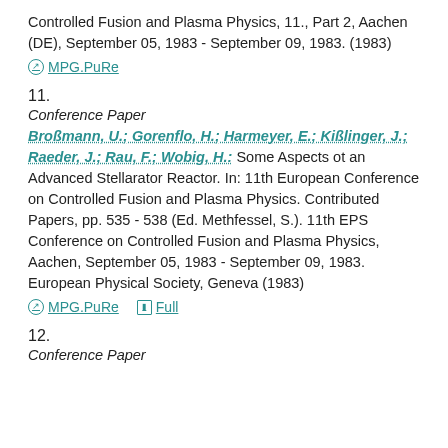Controlled Fusion and Plasma Physics, 11., Part 2, Aachen (DE), September 05, 1983 - September 09, 1983. (1983)
MPG.PuRe
11.
Conference Paper
Broßmann, U.; Gorenflo, H.; Harmeyer, E.; Kißlinger, J.; Raeder, J.; Rau, F.; Wobig, H.: Some Aspects ot an Advanced Stellarator Reactor. In: 11th European Conference on Controlled Fusion and Plasma Physics. Contributed Papers, pp. 535 - 538 (Ed. Methfessel, S.). 11th EPS Conference on Controlled Fusion and Plasma Physics, Aachen, September 05, 1983 - September 09, 1983. European Physical Society, Geneva (1983)
MPG.PuRe  Full
12.
Conference Paper